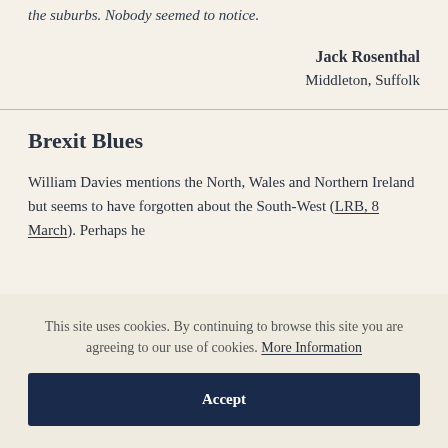the suburbs. Nobody seemed to notice.
Jack Rosenthal
Middleton, Suffolk
Brexit Blues
William Davies mentions the North, Wales and Northern Ireland but seems to have forgotten about the South-West (LRB, 8 March). Perhaps he
This site uses cookies. By continuing to browse this site you are agreeing to our use of cookies. More Information
Accept